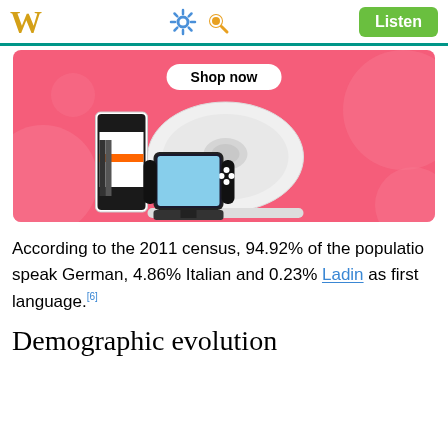W  [settings] [search]  Listen
[Figure (photo): Advertisement banner with pink background showing a robot vacuum, Nintendo Switch, and a smartphone with 'Shop now' button]
According to the 2011 census, 94.92% of the population speak German, 4.86% Italian and 0.23% Ladin as first language.[6]
Demographic evolution